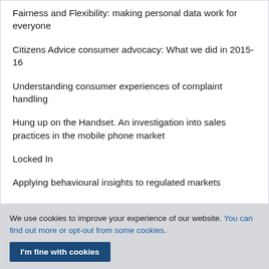Fairness and Flexibility: making personal data work for everyone
Citizens Advice consumer advocacy: What we did in 2015-16
Understanding consumer experiences of complaint handling
Hung up on the Handset. An investigation into sales practices in the mobile phone market
Locked In
Applying behavioural insights to regulated markets
We use cookies to improve your experience of our website. You can find out more or opt-out from some cookies.
I'm fine with cookies